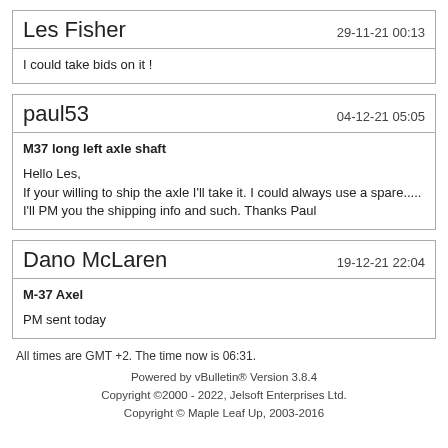Les Fisher — 29-11-21 00:13
I could take bids on it !
paul53 — 04-12-21 05:05
M37 long left axle shaft
Hello Les,
If your willing to ship the axle I'll take it. I could always use a spare.....
I'll PM you the shipping info and such. Thanks Paul
Dano McLaren — 19-12-21 22:04
M-37 Axel
PM sent today
All times are GMT +2. The time now is 06:31.
Powered by vBulletin® Version 3.8.4
Copyright ©2000 - 2022, Jelsoft Enterprises Ltd.
Copyright © Maple Leaf Up, 2003-2016